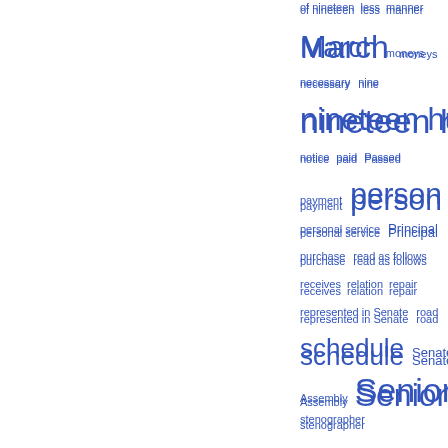[Figure (other): Word cloud / tag cloud (right portion visible) showing government/legal index terms in varying font sizes indicating frequency, all in blue. Terms include: of nineteen, less, manner, March, moneys, necessary, nine, nineteen hundred, notice, paid, Passed, payment, person, personal service, Principal, purchase, read as follows, receives, relation, repair, represented in Senate, road, schedule, Senate and Assembly, Senior, Senior stenographer, superintendent, supplies, take effect immediately, temporary, thence, thereof, thousand, three-fifths being, town]